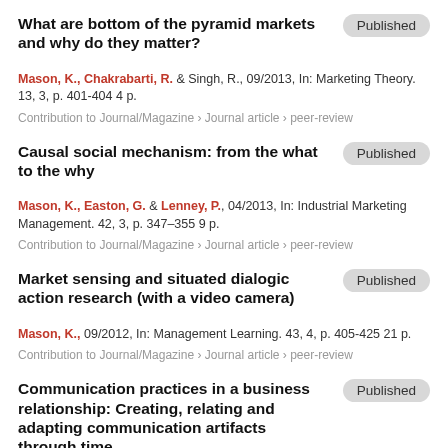What are bottom of the pyramid markets and why do they matter?
Mason, K., Chakrabarti, R. & Singh, R., 09/2013, In: Marketing Theory. 13, 3, p. 401-404 4 p.
Contribution to Journal/Magazine › Journal article › peer-review
Causal social mechanism: from the what to the why
Mason, K., Easton, G. & Lenney, P., 04/2013, In: Industrial Marketing Management. 42, 3, p. 347–355 9 p.
Contribution to Journal/Magazine › Journal article › peer-review
Market sensing and situated dialogic action research (with a video camera)
Mason, K., 09/2012, In: Management Learning. 43, 4, p. 405-425 21 p.
Contribution to Journal/Magazine › Journal article › peer-review
Communication practices in a business relationship: Creating, relating and adapting communication artifacts through time
Mason, K. & Leek, S., 02/2012, In: Industrial Marketing Management. 41, 2, p. 319-332 14 p.
Contribution to Journal/Magazine › Journal article › peer-review